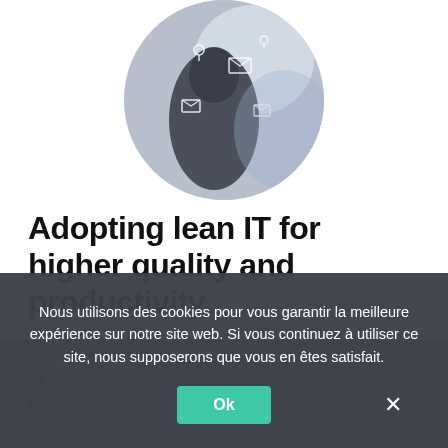[Figure (photo): Circular cropped photo of a person in dark clothing with digital overlay icons including map pins and email envelopes, suggesting a digital/IT consulting theme.]
Adopting lean IT for higher quality and productivity.
At Kéoni consulting, we help your organization drive higher quality and
Nous utilisons des cookies pour vous garantir la meilleure expérience sur notre site web. Si vous continuez à utiliser ce site, nous supposerons que vous en êtes satisfait.
Ok